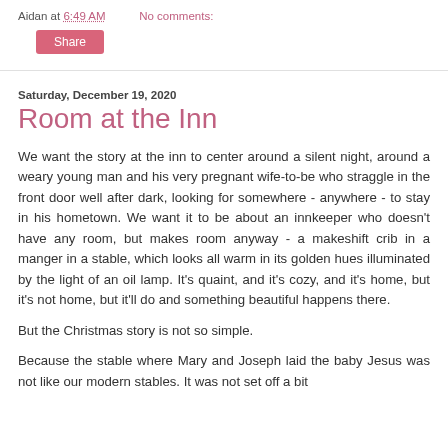Aidan at 6:49 AM   No comments:
Share
Saturday, December 19, 2020
Room at the Inn
We want the story at the inn to center around a silent night, around a weary young man and his very pregnant wife-to-be who straggle in the front door well after dark, looking for somewhere - anywhere - to stay in his hometown. We want it to be about an innkeeper who doesn't have any room, but makes room anyway - a makeshift crib in a manger in a stable, which looks all warm in its golden hues illuminated by the light of an oil lamp. It's quaint, and it's cozy, and it's home, but it's not home, but it'll do and something beautiful happens there.
But the Christmas story is not so simple.
Because the stable where Mary and Joseph laid the baby Jesus was not like our modern stables. It was not set off a bit